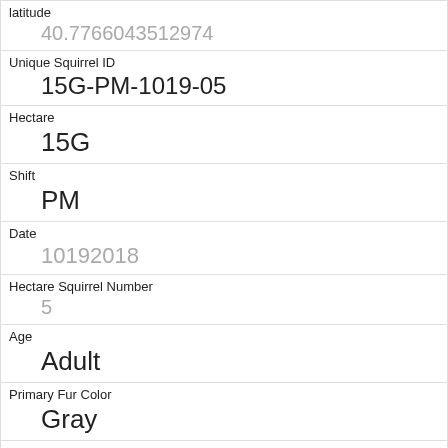| latitude | 40.7766043512974 |
| Unique Squirrel ID | 15G-PM-1019-05 |
| Hectare | 15G |
| Shift | PM |
| Date | 10192018 |
| Hectare Squirrel Number | 5 |
| Age | Adult |
| Primary Fur Color | Gray |
| Highlight Fur Color | Cinnamon |
| Combination of Primary and Highlight Color | Gray+Cinnamon |
| Color notes |  |